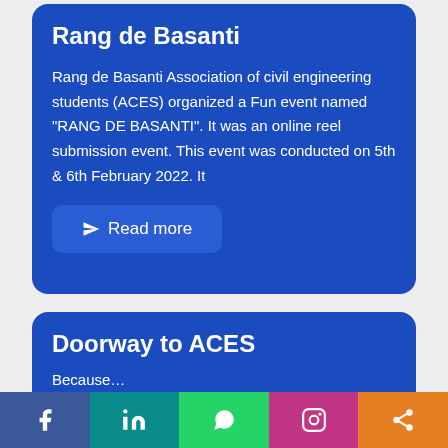Rang de Basanti
Rang de Basanti Association of civil engineering students (ACES) organized a Fun event named "RANG DE BASANTI". It was an online reel submission event. This event was conducted on 5th & 6th February 2022. It
Read more
Doorway to ACES
Because…